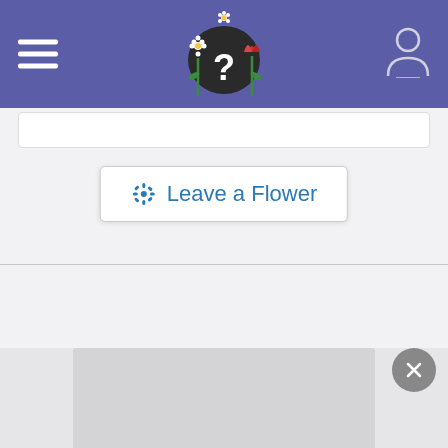[Figure (screenshot): Purple navigation header bar with hamburger menu icon on left, decorative logo (question mark with flowers) in center, and user/person icon on right]
[Figure (screenshot): Leave a Flower button with snowflake/flower icon and text 'Leave a Flower' in blue on white rounded rectangle]
[Figure (screenshot): Empty gray content area with a bottom panel showing a gray rounded modal and a dark circular close (X) button in lower right]